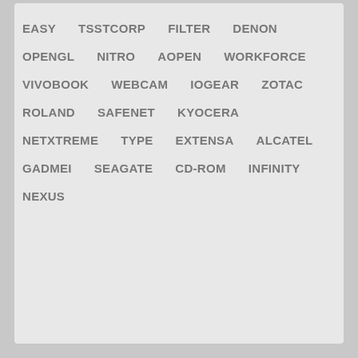EASY  TSSTCORP  FILTER  DENON
OPENGL  NITRO  AOPEN  WORKFORCE
VIVOBOOK  WEBCAM  IOGEAR  ZOTAC
ROLAND  SAFENET  KYOCERA
NETXTREME  TYPE  EXTENSA  ALCATEL
GADMEI  SEAGATE  CD-ROM  INFINITY
NEXUS